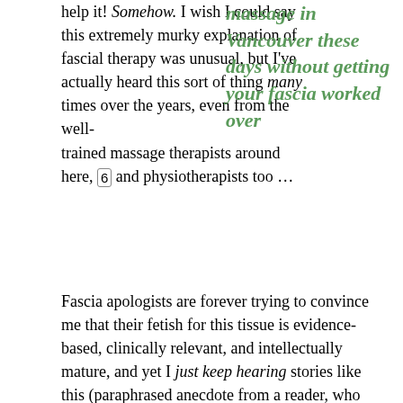help it! Somehow. I wish I could say this extremely murky explanation of fascial therapy was unusual, but I've actually heard this sort of thing many times over the years, even from the well-trained massage therapists around here, 6 and physiotherapists too …
massage in Vancouver these days without getting your fascia worked over
Fascia apologists are forever trying to convince me that their fetish for this tissue is evidence-based, clinically relevant, and intellectually mature, and yet I just keep hearing stories like this (paraphrased anecdote from a reader, who was horrified):